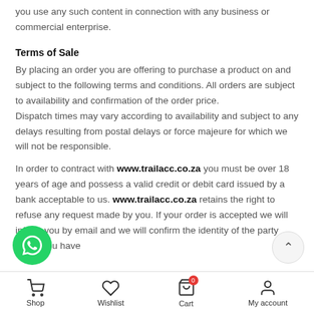you use any such content in connection with any business or commercial enterprise.
Terms of Sale
By placing an order you are offering to purchase a product on and subject to the following terms and conditions. All orders are subject to availability and confirmation of the order price.
Dispatch times may vary according to availability and subject to any delays resulting from postal delays or force majeure for which we will not be responsible.
In order to contract with www.trailacc.co.za you must be over 18 years of age and possess a valid credit or debit card issued by a bank acceptable to us. www.trailacc.co.za retains the right to refuse any request made by you. If your order is accepted we will inform you by email and we will confirm the identity of the party which you have
Shop | Wishlist | Cart | My account